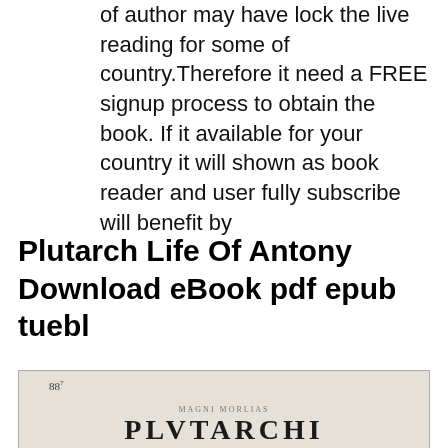of author may have lock the live reading for some of country.Therefore it need a FREE signup process to obtain the book. If it available for your country it will shown as book reader and user fully subscribe will benefit by
Plutarch Life Of Antony Download eBook pdf epub tuebl
[Figure (photo): Scanned page of an old Latin book showing 'PLVTARCHI' in large letters with subtitle text 'CHAERONEI DE PLACITIS DECRE/ tiscp Philosophorum naturalibus, LIBER PRIMVS.' and 'Gulielmo Budeo Parisiensi, regio Secretario, interprete.' Page number 88 visible at top left.]